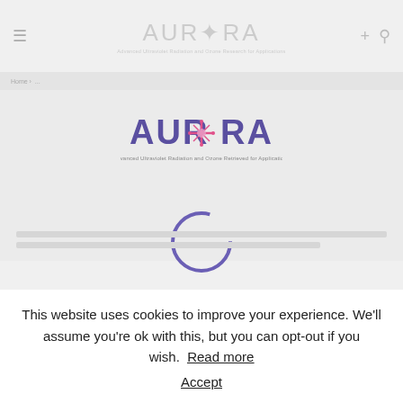[Figure (logo): AURORA logo in navbar - faint gray version with text 'Advanced Ultraviolet Radiation and Ozone Research for Applications']
[Figure (logo): AURORA logo centered on page - purple/violet lettering with pink star/atom icon, subtitle 'Advanced Ultraviolet Radiation and Ozone Retrieved for Applications']
[Figure (other): Loading spinner - purple circle outline, loading indicator]
This website uses cookies to improve your experience. We'll assume you're ok with this, but you can opt-out if you wish. Read more Accept